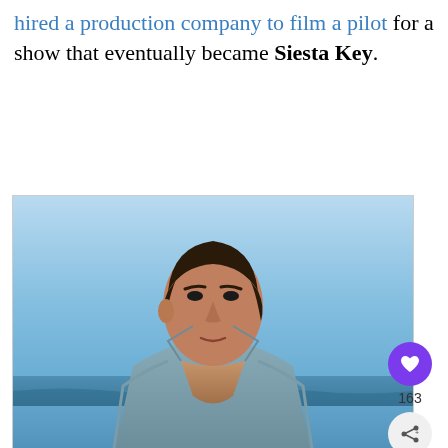...hired a production company to film a pilot for a show that eventually became Siesta Key.
[Figure (photo): A young man with short dark hair photographed outdoors at a beach, wearing an open denim/chambray shirt, looking upward against a blue sky background. Social media overlay shows a purple heart/like button, count of 163, and a share icon on the right side.]